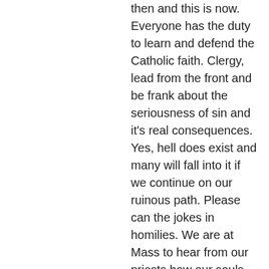then and this is now. Everyone has the duty to learn and defend the Catholic faith. Clergy, lead from the front and be frank about the seriousness of sin and it's real consequences. Yes, hell does exist and many will fall into it if we continue on our ruinous path. Please can the jokes in homilies. We are at Mass to hear from our priests how our souls can be saved, not to be entertained. Mass is not the Improv. Please Bishops and priests, be generous in offering the Mass in Latin. It is now 5 years since Summorum Pontificum. Let our generation behold how beautiful and reverent this form of Mass is. Be bold and courageous in defending the Faith. Many saints were martyred doing this. Encourage confession and fasting. Laity, those who are parents, it is your duty to teach the Catholic faith to your children. Pray with them, teach them the rosary, the lives of the saints, Church history, etc. Where will our next priests